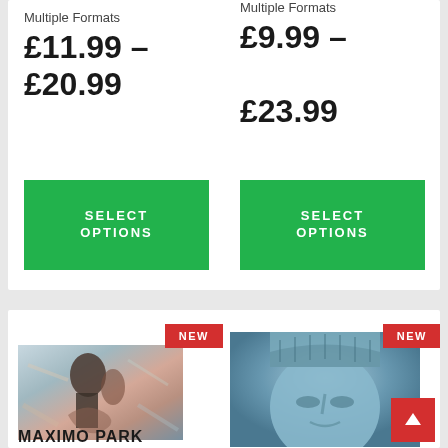Multiple Formats
£11.99 – £20.99
Multiple Formats
£9.99 – £23.99
SELECT OPTIONS
SELECT OPTIONS
[Figure (photo): Album cover for Maximo Park - painting style artwork with figure in abstract landscape]
NEW
MAXIMO PARK
[Figure (photo): Close-up photo of a stone or blue-tinted face/statue sculpture looking upward]
NEW